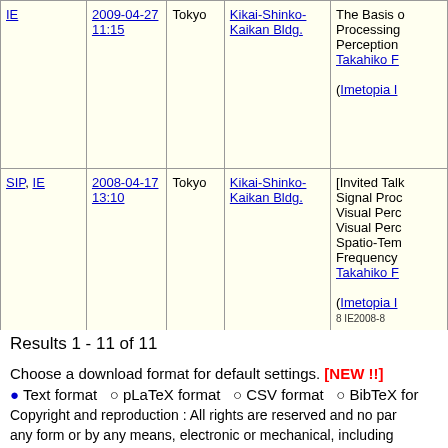| Category | Date/Time | City | Venue | Details |
| --- | --- | --- | --- | --- |
| IE | 2009-04-27 11:15 | Tokyo | Kikai-Shinko-Kaikan Bldg. | The Basis of... Processing... Perception... Takahiko F... (Imetopia I... |
| SIP, IE | 2008-04-17 13:10 | Tokyo | Kikai-Shinko-Kaikan Bldg. | [Invited Talk... Signal Proc... Visual Perc... Visual Perc... Spatio-Tem... Frequency... Takahiko F... (Imetopia I... 8 IE2008-8 |
Results 1 - 11 of 11   /
Choose a download format for default settings. [NEW !!]
● Text format  ○ pLaTeX format  ○ CSV format  ○ BibTeX for
Copyright and reproduction : All rights are reserved and no par... any form or by any means, electronic or mechanical, including... retrieval system, without permission in writing from the publish... photocopy isolated articles for noncommercial classroom use w... 10CA0010/12CR0053/12CR0056/17CR0034/18CR0034)